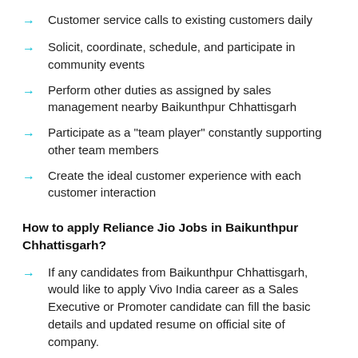Customer service calls to existing customers daily
Solicit, coordinate, schedule, and participate in community events
Perform other duties as assigned by sales management nearby Baikunthpur Chhattisgarh
Participate as a "team player" constantly supporting other team members
Create the ideal customer experience with each customer interaction
How to apply Reliance Jio Jobs in Baikunthpur Chhattisgarh?
If any candidates from Baikunthpur Chhattisgarh, would like to apply Vivo India career as a Sales Executive or Promoter candidate can fill the basic details and updated resume on official site of company.
Tags: VIVO careers Baikunthpur, VIVO India Jobs